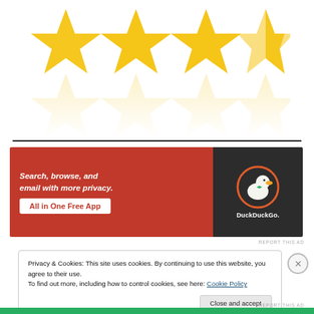[Figure (illustration): Four gold stars with reflections below — a 3.5 or 4-star rating graphic. The stars are bright yellow/gold with glossy reflections underneath on a white background.]
[Figure (screenshot): DuckDuckGo advertisement banner. Left side has orange-red background with italic bold white text 'Search, browse, and email with more privacy.' and a white button reading 'All in One Free App'. Right side has dark gray background with DuckDuckGo duck logo and text 'DuckDuckGo.']
REPORT THIS AD
Privacy & Cookies: This site uses cookies. By continuing to use this website, you agree to their use.
To find out more, including how to control cookies, see here: Cookie Policy
Close and accept